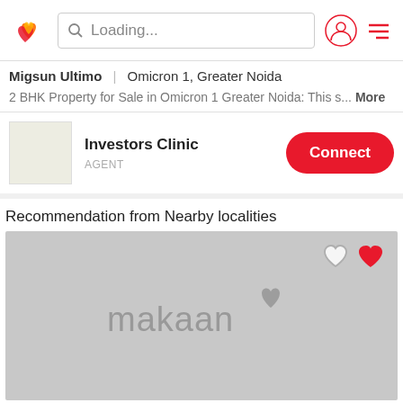Loading...
Migsun Ultimo | Omicron 1, Greater Noida
2 BHK Property for Sale in Omicron 1 Greater Noida: This s... More
Investors Clinic
AGENT
Recommendation from Nearby localities
[Figure (screenshot): Makaan.com property image placeholder with logo watermark and heart/favorite icons]
2 BHK Independent House  3,400 sq ft
Kyampur, Greater Noida
₹1.75 Cr